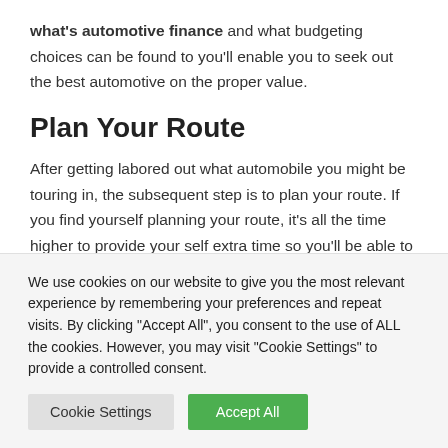what's automotive finance and what budgeting choices can be found to you'll enable you to seek out the best automotive on the proper value.
Plan Your Route
After getting labored out what automobile you might be touring in, the subsequent step is to plan your route. If you find yourself planning your route, it's all the time higher to provide your self extra time so you'll be able to
We use cookies on our website to give you the most relevant experience by remembering your preferences and repeat visits. By clicking "Accept All", you consent to the use of ALL the cookies. However, you may visit "Cookie Settings" to provide a controlled consent.